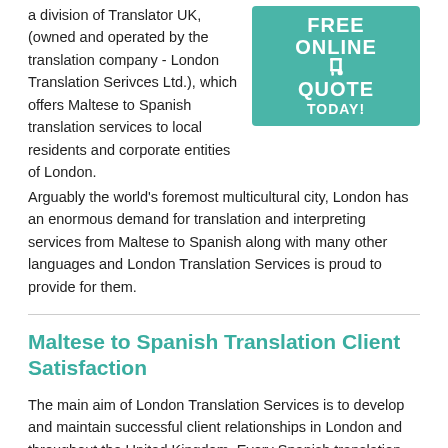a division of Translator UK, (owned and operated by the translation company - London Translation Serivces Ltd.), which offers Maltese to Spanish translation services to local residents and corporate entities of London. Arguably the world's foremost multicultural city, London has an enormous demand for translation and interpreting services from Maltese to Spanish along with many other languages and London Translation Services is proud to provide for them.
[Figure (illustration): Teal/green banner with white text reading FREE ONLINE QUOTE TODAY! with a hand cursor icon]
Maltese to Spanish Translation Client Satisfaction
The main aim of London Translation Services is to develop and maintain successful client relationships in London and throughout the United Kingdom. Every Spanish translation client is important to us. Whether you need a